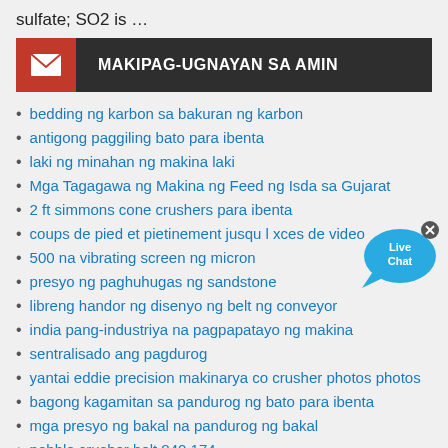sulfate; SO2 is …
[Figure (other): Contact banner with envelope icon and text MAKIPAG-UGNAYAN SA AMIN on dark background with red icon box]
bedding ng karbon sa bakuran ng karbon
antigong paggiling bato para ibenta
laki ng minahan ng makina laki
Mga Tagagawa ng Makina ng Feed ng Isda sa Gujarat
2 ft simmons cone crushers para ibenta
coups de pied et pietinement jusqu l xces de video
500 na vibrating screen ng micron
presyo ng paghuhugas ng sandstone
libreng handor ng disenyo ng belt ng conveyor
india pang-industriya na pagpapatayo ng makina
sentralisado ang pagdurog
yantai eddie precision makinarya co crusher photos photos
bagong kagamitan sa pandurog ng bato para ibenta
mga presyo ng bakal na pandurog ng bakal
pebble crusher bolt 840 174
pagkalkula ng paraan ng pagdurog
hungarian riffles sa isang hand fed sluice
froth flotation ton